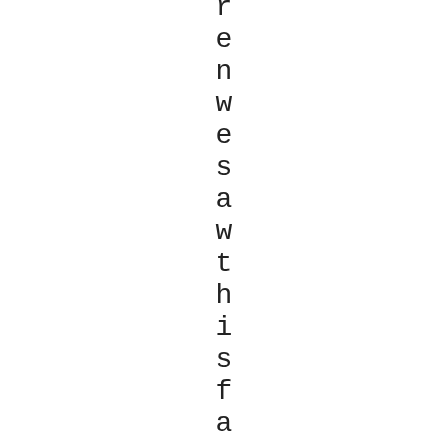renewes aw this familiar story